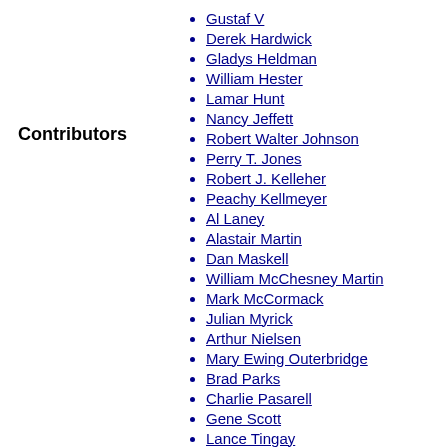Contributors
Gustaf V
Derek Hardwick
Gladys Heldman
William Hester
Lamar Hunt
Nancy Jeffett
Robert Walter Johnson
Perry T. Jones
Robert J. Kelleher
Peachy Kellmeyer
Al Laney
Alastair Martin
Dan Maskell
William McChesney Martin
Mark McCormack
Julian Myrick
Arthur Nielsen
Mary Ewing Outerbridge
Brad Parks
Charlie Pasarell
Gene Scott
Lance Tingay
Ted Tinling
Ion Țiriac
Brian Tobin